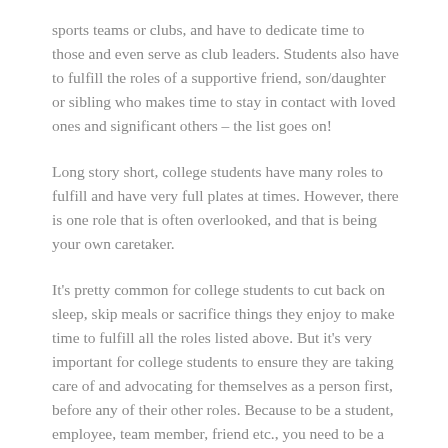sports teams or clubs, and have to dedicate time to those and even serve as club leaders. Students also have to fulfill the roles of a supportive friend, son/daughter or sibling who makes time to stay in contact with loved ones and significant others – the list goes on!
Long story short, college students have many roles to fulfill and have very full plates at times. However, there is one role that is often overlooked, and that is being your own caretaker.
It's pretty common for college students to cut back on sleep, skip meals or sacrifice things they enjoy to make time to fulfill all the roles listed above. But it's very important for college students to ensure they are taking care of and advocating for themselves as a person first, before any of their other roles. Because to be a student, employee, team member, friend etc., you need to be a healthy person first.